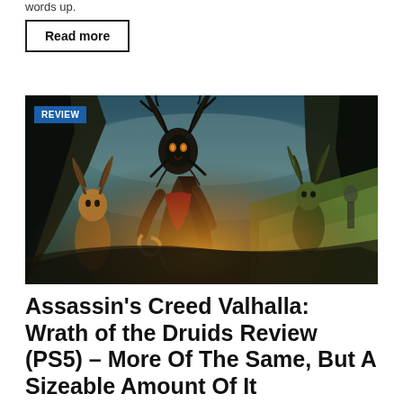words up.
Read more
[Figure (photo): Promotional artwork for Assassin's Creed Valhalla: Wrath of the Druids showing a central antlered druid figure in warrior pose with a sickle weapon, flanked by other druidic creatures wearing antler masks, set against a fiery and mossy dark fantasy landscape. A blue 'REVIEW' badge overlays the top-left corner of the image.]
Assassin's Creed Valhalla: Wrath of the Druids Review (PS5) – More Of The Same, But A Sizeable Amount Of It